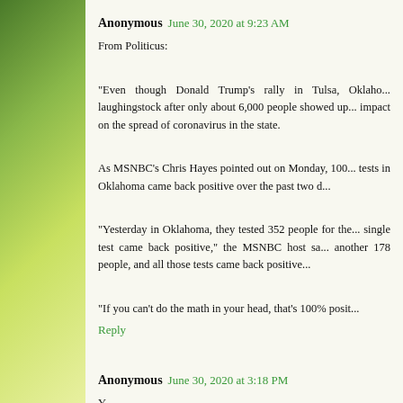[Figure (photo): Green leaves on left sidebar background]
Anonymous June 30, 2020 at 9:23 AM
From Politicus:

"Even though Donald Trump's rally in Tulsa, Oklahoma was a laughingstock after only about 6,000 people showed up, it had an impact on the spread of coronavirus in the state.

As MSNBC's Chris Hayes pointed out on Monday, 100 of the coronavirus tests in Oklahoma came back positive over the past two d...

“Yesterday in Oklahoma, they tested 352 people for the... single test came back positive,” the MSNBC host sa... another 178 people, and all those tests came back positive...

“If you can’t do the math in your head, that’s 100% posit...
Reply
Anonymous June 30, 2020 at 3:18 PM
Y...